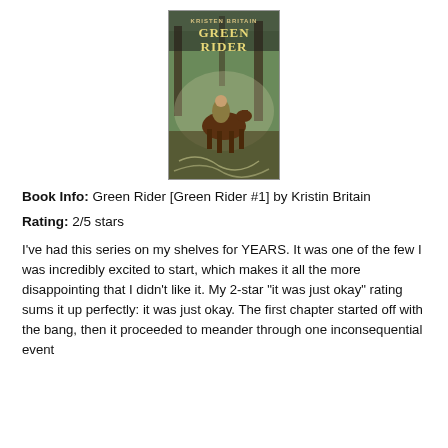[Figure (illustration): Book cover of 'Green Rider' by Kristen Britain showing a rider on horseback in a forest setting with fantasy artwork]
Book Info: Green Rider [Green Rider #1] by Kristin Britain
Rating: 2/5 stars
I've had this series on my shelves for YEARS. It was one of the few I was incredibly excited to start, which makes it all the more disappointing that I didn't like it. My 2-star "it was just okay" rating sums it up perfectly: it was just okay. The first chapter started off with the bang, then it proceeded to meander through one inconsequential event